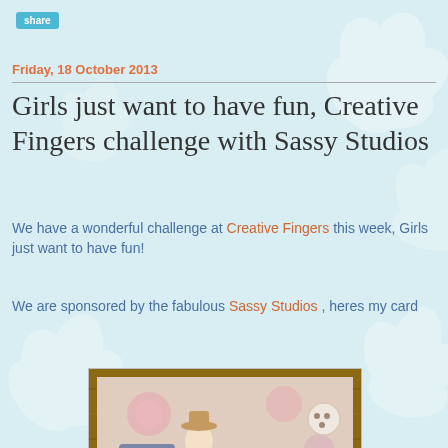share
Friday, 18 October 2013
Girls just want to have fun, Creative Fingers challenge with Sassy Studios
We have a wonderful challenge at Creative Fingers this week, Girls just want to have fun!
We are sponsored by the fabulous Sassy Studios , heres my card
[Figure (photo): A handmade craft card featuring a stylized girl figure wearing a hat, pink scarf, and striped outfit, standing on decorative dark blue gear/cog shapes. A banner reads 'STICK TO YOUR GUNS' and there is a large white button in the upper right. Background has pink floral patterned paper on a wooden surface.]